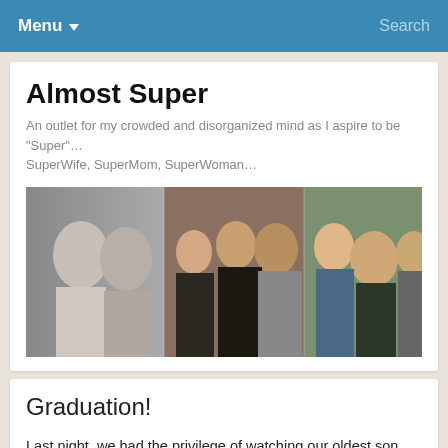Menu  Search
Almost Super
An outlet for my crowded and disorganized mind as I aspire to be "Super"… SuperWife, SuperMom, SuperWoman…
[Figure (photo): Family photo collage showing a couple in black and white on the left, a family with children in the middle, and a family group on the right]
Graduation!
Last night, we had the privilege of watching our oldest son graduate… from preschool. Â 🙂 Â He attended Lighthouse Christian Preschool, and we have nothing but good things to say about the staff and the program there.
He learned to write his name, and even though it looks more like a